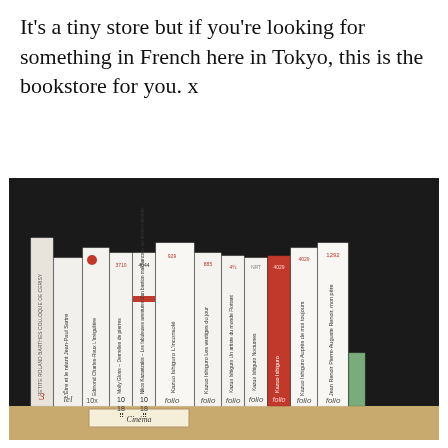It's a tiny store but if you're looking for something in French here in Tokyo, this is the bookstore for you. x
[Figure (photo): A wooden bookshelf holding a row of French-language paperback books standing upright. Books include works by Jean-Paul Sartre (L'Être et le néant), Edmond Charles-Roux (L'irrégulière), Kazuo Ishiguro (L'inconsolé, Les vestiges du jour, Nocturnes, Auprès de moi toujours), Jean Renoir, Pierre-Auguste Renoir, and others. Publishers visible include folio, 10/18, and others. A label reading 'Cinéma' is visible on the shelf.]